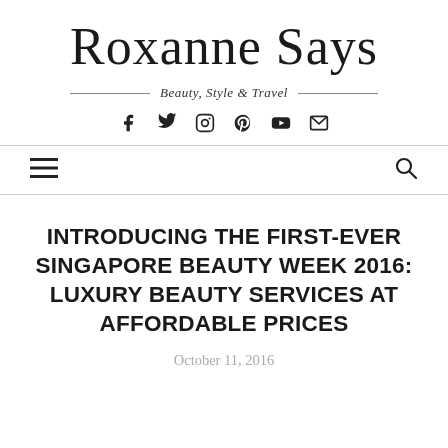Roxanne Says
Beauty, Style & Travel
[Figure (other): Social media icons: Facebook, Twitter, Instagram, Pinterest, YouTube, Email]
[Figure (other): Navigation bar with hamburger menu icon on left and search icon on right]
INTRODUCING THE FIRST-EVER SINGAPORE BEAUTY WEEK 2016: LUXURY BEAUTY SERVICES AT AFFORDABLE PRICES
October 11, 2016